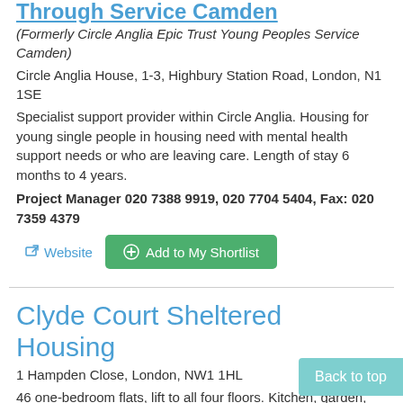Through Service Camden
(Formerly Circle Anglia Epic Trust Young Peoples Service Camden)
Circle Anglia House, 1-3, Highbury Station Road, London, N1 1SE
Specialist support provider within Circle Anglia. Housing for young single people in housing need with mental health support needs or who are leaving care. Length of stay 6 months to 4 years.
Project Manager 020 7388 9919, 020 7704 5404, Fax: 020 7359 4379
Website
Add to My Shortlist
Clyde Court Sheltered Housing
1 Hampden Close, London, NW1 1HL
46 one-bedroom flats, lift to all four floors. Kitchen, garden, common room and laundry facilities
020 7383 3193
Website
Add to My Shortlist
Back to top